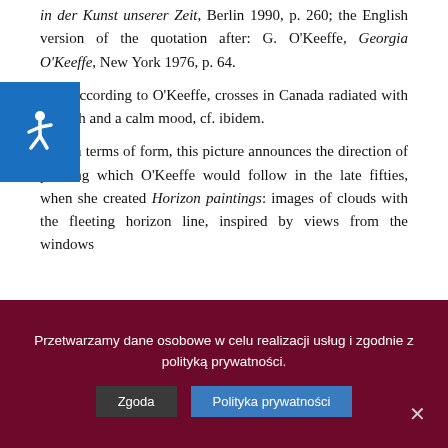in der Kunst unserer Zeit, Berlin 1990, p. 260; the English version of the quotation after: G. O'Keeffe, Georgia O'Keeffe, New York 1976, p. 64.
[12] According to O'Keeffe, crosses in Canada radiated with warmth and a calm mood, cf. ibidem.
[13] In terms of form, this picture announces the direction of painting which O'Keeffe would follow in the late fifties, when she created Horizon paintings: images of clouds with the fleeting horizon line, inspired by views from the windows
[Figure (other): Accessibility icon — white wheelchair symbol on blue background]
Przetwarzamy dane osobowe w celu realizacji usług i zgodnie z polityką prywatności.
Zgoda | Polityka prywatności